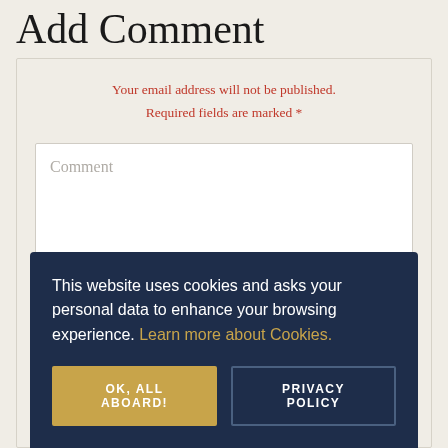Add Comment
Your email address will not be published. Required fields are marked *
Comment
This website uses cookies and asks your personal data to enhance your browsing experience. Learn more about Cookies.
OK, ALL ABOARD!
PRIVACY POLICY